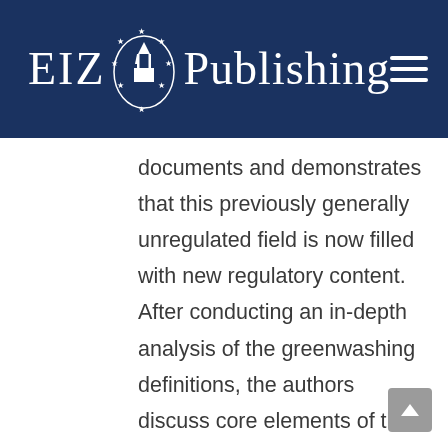EIZ Publishing
documents and demonstrates that this previously generally unregulated field is now filled with new regulatory content. After conducting an in-depth analysis of the greenwashing definitions, the authors discuss core elements of the regulatory greenwashing concept under EU law and address various aspects of its impact on the banking practice. The essay concludes by placing the greenwashing